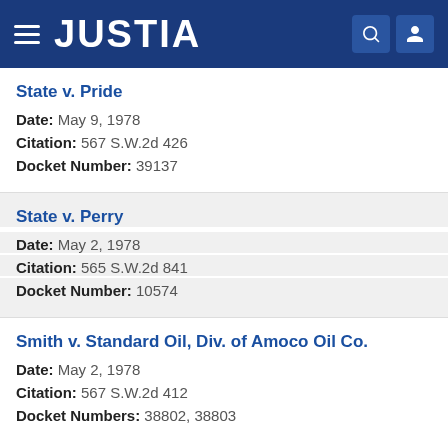JUSTIA
State v. Pride
Date: May 9, 1978
Citation: 567 S.W.2d 426
Docket Number: 39137
State v. Perry
Date: May 2, 1978
Citation: 565 S.W.2d 841
Docket Number: 10574
Smith v. Standard Oil, Div. of Amoco Oil Co.
Date: May 2, 1978
Citation: 567 S.W.2d 412
Docket Numbers: 38802, 38803